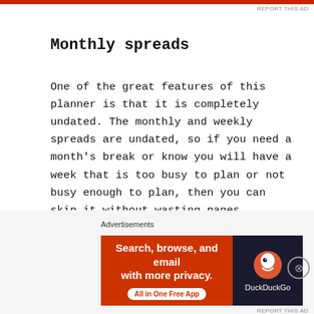REPORT THIS AD
Monthly spreads
One of the great features of this planner is that it is completely undated. The monthly and weekly spreads are undated, so if you need a month’s break or know you will have a week that is too busy to plan or not busy enough to plan, then you can skip it without wasting pages.
To start the monthly section, there is a spread for ‘My 3-Month Goals’ and there is a spread for this
[Figure (infographic): DuckDuckGo advertisement banner: orange left panel with text 'Search, browse, and email with more privacy. All in One Free App' and dark right panel with DuckDuckGo logo and text 'DuckDuckGo']
REPORT THIS AD